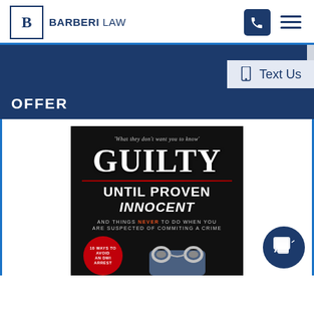[Figure (logo): Barberi Law logo with stylized B in a box, text BARBERI LAW]
[Figure (illustration): Phone icon (white on dark blue rounded square) and hamburger menu icon]
[Figure (other): Dark blue banner section with light blue accent bar]
Text Us
OFFER
[Figure (photo): Book cover: 'What they don't want you to know' - GUILTY UNTIL PROVEN INNOCENT - AND THINGS NEVER TO DO WHEN YOU ARE SUSPECTED OF COMMITING A CRIME - with handcuffed person image, red circle with '10 WAYS TO AVOID AN DWI ARREST']
[Figure (illustration): Blue circular chat/message button in bottom right corner]